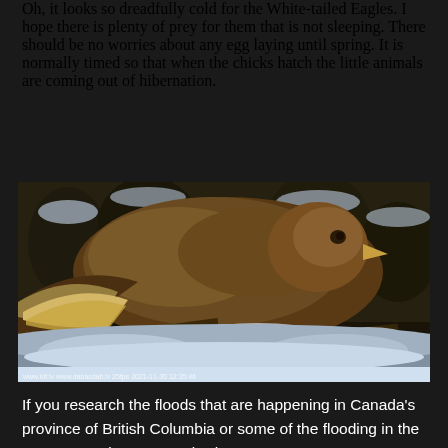Oh, it looks so dreadfully cold for the White-tailed Eagles. I hope there is plenty of prey for them that is not sleeping. There should be no worries about any egg laying until spring. It is normally timed so that when the chicks hatch the little animals are coming out of hibernation.
[Figure (photo): A White-tailed Eagle photographed on a snowy nest or ground, showing its brown plumage and spread wings. Snow-covered branches and snowy ground are visible. A timestamp overlay reads: www.ldf.lv www.dabasdati.lv 25fps 2021-11-30 12:35:46]
If you research the floods that are happening in Canada's province of British Columbia or some of the flooding in the eastern provinces recently, there are many causes. In